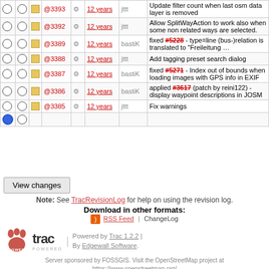|  |  |  | Rev |  | Age | Author | Log Message |
| --- | --- | --- | --- | --- | --- | --- | --- |
| ○ | ○ | □ | @3393 | ⚙ | 12 years | jttt | Update filter count when last osm data layer is removed |
| ○ | ○ | □ | @3392 | ⚙ | 12 years | jttt | Allow SplitWayAction to work also when some non related ways are selected. |
| ○ | ○ | □ | @3389 | ⚙ | 12 years | bastiK | fixed #5228 - type=line (bus-)relation is translated to "Freileitung … |
| ○ | ○ | □ | @3388 | ⚙ | 12 years | jttt | Add tagging preset search dialog |
| ○ | ○ | □ | @3387 | ⚙ | 12 years | bastiK | fixed #5271 - Index out of bounds when loading images with GPS info in EXIF |
| ○ | ○ | □ | @3386 | ⚙ | 12 years | bastiK | applied #3617 (patch by reini122) - display waypoint descriptions in JOSM |
| ○ | ○ | □ | @3385 | ⚙ | 12 years | jttt | Fix warnings |
| ● | ○ |  |  |  |  |  |  |
View changes
Note: See TracRevisionLog for help on using the revision log.
Download in other formats:
RSS Feed | ChangeLog
Powered by Trac 1.2.2 | By Edgewall Software.
Server sponsored by FOSSGIS. Visit the OpenStreetMap project at https://www.openstreetmap.org/ Content is available under Creative Commons (CC-BY-SA) and anything since April 2014 also under LGPL license.